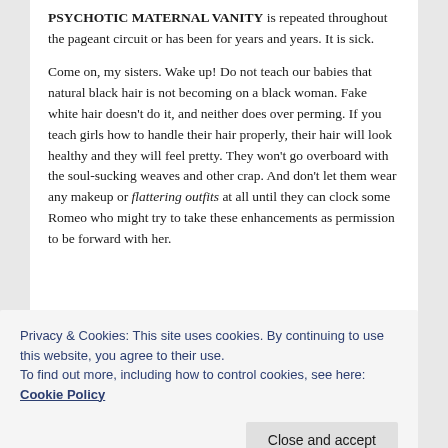PSYCHOTIC MATERNAL VANITY is repeated throughout the pageant circuit or has been for years and years. It is sick.

Come on, my sisters. Wake up! Do not teach our babies that natural black hair is not becoming on a black woman. Fake white hair doesn't do it, and neither does over perming. If you teach girls how to handle their hair properly, their hair will look healthy and they will feel pretty. They won't go overboard with the soul-sucking weaves and other crap. And don't let them wear any makeup or flattering outfits at all until they can clock some Romeo who might try to take these enhancements as permission to be forward with her.
Privacy & Cookies: This site uses cookies. By continuing to use this website, you agree to their use.
To find out more, including how to control cookies, see here: Cookie Policy
down and start creating a generation of lost, confused